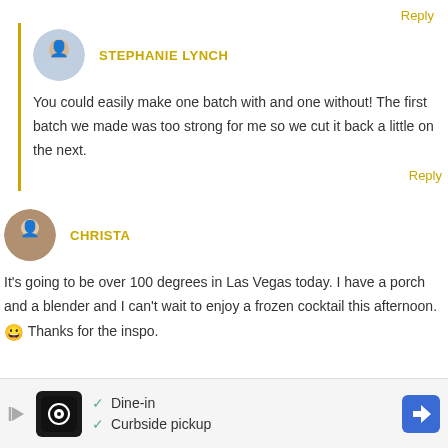Reply
STEPHANIE LYNCH
You could easily make one batch with and one without! The first batch we made was too strong for me so we cut it back a little on the next.
Reply
CHRISTA
It's going to be over 100 degrees in Las Vegas today. I have a porch and a blender and I can't wait to enjoy a frozen cocktail this afternoon. 😀 Thanks for the inspo.
[Figure (screenshot): Advertisement banner showing a restaurant with Dine-in and Curbside pickup options, with a navigation icon.]